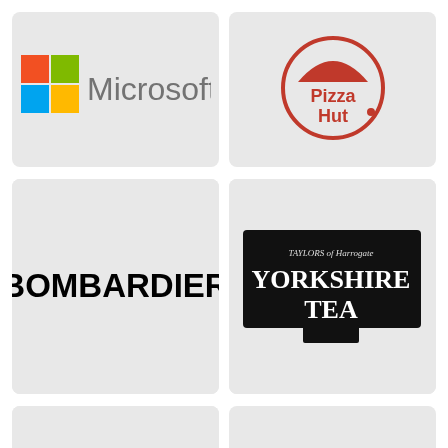[Figure (logo): Microsoft logo with colorful four-square Windows icon and 'Microsoft' text in gray]
[Figure (logo): Pizza Hut logo: red circular badge with pizza hut roof icon and 'Pizza Hut' text]
[Figure (logo): Bombardier logo in bold black all-caps text]
[Figure (logo): Taylors of Harrogate Yorkshire Tea logo: black rectangular badge with white text]
[Figure (logo): Seattle Genetics logo in green with stylized S icon]
[Figure (logo): Novo Nordisk logo: blue bull figure with person on top and 'novo nordisk' text]